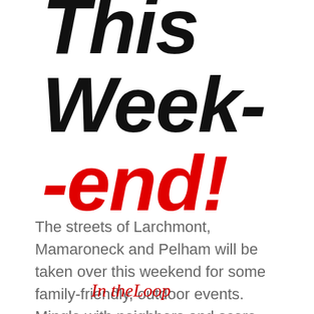This Weekend! -end!
The streets of Larchmont, Mamaroneck and Pelham will be taken over this weekend for some family-friendly, outdoor events. Mingle with neighbors and score some great deals!
In theLoop